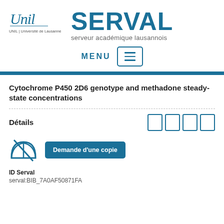[Figure (logo): UNIL Université de Lausanne logo with italic script 'Unil' and text 'UNIL | Université de Lausanne']
SERVAL
serveur académique lausannois
[Figure (other): MENU navigation button with hamburger icon (three horizontal lines) inside a rounded rectangle border]
Cytochrome P450 2D6 genotype and methadone steady-state concentrations
Détails
[Figure (other): Open book icon with a diagonal line through it (unavailable/restricted access symbol) in teal/blue color]
[Figure (other): Button labeled 'Demande d'une copie' (teal background, white text)]
ID Serval
serval:BIB_7A0AF50871FA